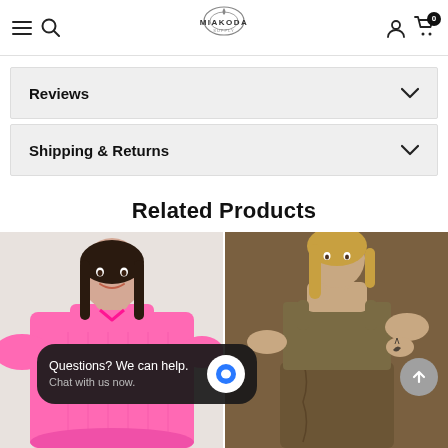MIAKODA
Reviews
Shipping & Returns
Related Products
[Figure (photo): Woman wearing a pink dress, smiling]
[Figure (photo): Woman wearing an olive/khaki sleeveless top and matching skirt]
Questions? We can help. Chat with us now.